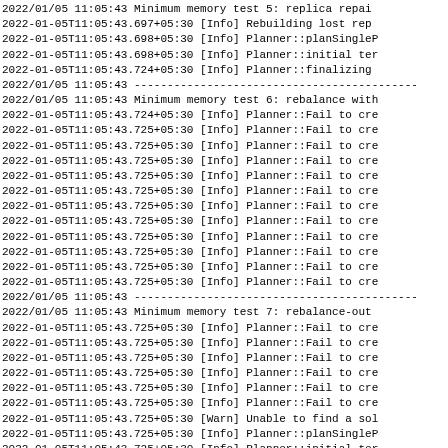2022/01/05 11:05:43 Minimum memory test 5: replica repai
2022-01-05T11:05:43.697+05:30 [Info] Rebuilding lost rep
2022-01-05T11:05:43.698+05:30 [Info] Planner::planSingleP
2022-01-05T11:05:43.698+05:30 [Info] Planner::initial ter
2022-01-05T11:05:43.724+05:30 [Info] Planner::finalizing
2022/01/05 11:05:43 -------------------------------------------
2022/01/05 11:05:43 Minimum memory test 6: rebalance with
2022-01-05T11:05:43.724+05:30 [Info] Planner::Fail to cre
2022-01-05T11:05:43.725+05:30 [Info] Planner::Fail to cre
2022-01-05T11:05:43.725+05:30 [Info] Planner::Fail to cre
2022-01-05T11:05:43.725+05:30 [Info] Planner::Fail to cre
2022-01-05T11:05:43.725+05:30 [Info] Planner::Fail to cre
2022-01-05T11:05:43.725+05:30 [Info] Planner::Fail to cre
2022-01-05T11:05:43.725+05:30 [Info] Planner::Fail to cre
2022-01-05T11:05:43.725+05:30 [Info] Planner::Fail to cre
2022-01-05T11:05:43.725+05:30 [Info] Planner::Fail to cre
2022-01-05T11:05:43.725+05:30 [Info] Planner::Fail to cre
2022-01-05T11:05:43.725+05:30 [Info] Planner::Fail to cre
2022-01-05T11:05:43.725+05:30 [Info] Planner::Fail to cre
2022/01/05 11:05:43 -------------------------------------------
2022/01/05 11:05:43 Minimum memory test 7: rebalance-out
2022-01-05T11:05:43.725+05:30 [Info] Planner::Fail to cre
2022-01-05T11:05:43.725+05:30 [Info] Planner::Fail to cre
2022-01-05T11:05:43.725+05:30 [Info] Planner::Fail to cre
2022-01-05T11:05:43.725+05:30 [Info] Planner::Fail to cre
2022-01-05T11:05:43.725+05:30 [Info] Planner::Fail to cre
2022-01-05T11:05:43.725+05:30 [Info] Planner::Fail to cre
2022-01-05T11:05:43.725+05:30 [Warn] Unable to find a sol
2022-01-05T11:05:43.725+05:30 [Info] Planner::planSingleP
2022-01-05T11:05:43.725+05:30 [Info] Planner::initial ter
2022-01-05T11:05:43.726+05:30 [Info] Planner::finalizing